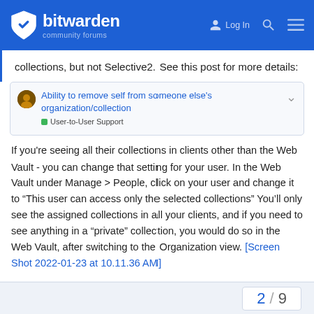bitwarden community forums
collections, but not Selective2. See this post for more details:
Ability to remove self from someone else's organization/collection  User-to-User Support
If you're seeing all their collections in clients other than the Web Vault - you can change that setting for your user. In the Web Vault under Manage > People, click on your user and change it to “This user can access only the selected collections” You’ll only see the assigned collections in all your clients, and if you need to see anything in a “private” collection, you would do so in the Web Vault, after switching to the Organization view. [Screen Shot 2022-01-23 at 10.11.36 AM]
2 / 9